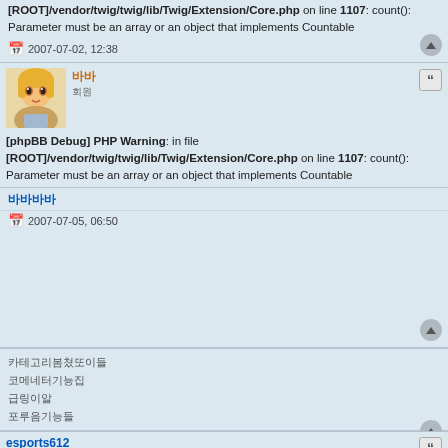[ROOT]/vendor/twig/twig/lib/Twig/Extension/Core.php on line 1107: count(): Parameter must be an array or an object that implements Countable
2007-07-02, 12:38
새벽 (username)
회원
[phpBB Debug] PHP Warning: in file [ROOT]/vendor/twig/twig/lib/Twig/Extension/Core.php on line 1107: count(): Parameter must be an array or an object that implements Countable
글 작성자가 없음
2007-07-05, 06:50
포럼 네비게이션 링크들
esports612
회원
[phpBB Debug] PHP Warning: in file [ROOT]/vendor/twig/twig/lib/Twig/Extension/Core.php on line 1107: count(): Parameter must be an array or an object that implements Countable